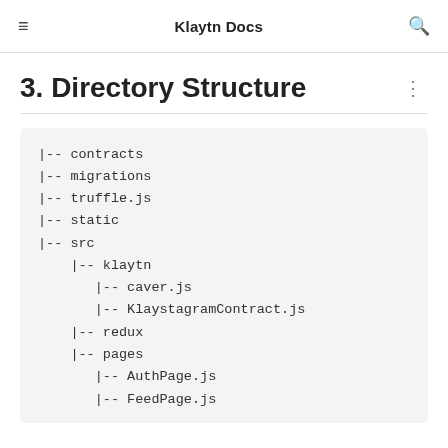Klaytn Docs
3. Directory Structure
|-- contracts
|-- migrations
|-- truffle.js
|-- static
|-- src
    |-- klaytn
       |-- caver.js
       |-- KlaystagramContract.js
    |-- redux
    |-- pages
       |-- AuthPage.js
       |-- FeedPage.js